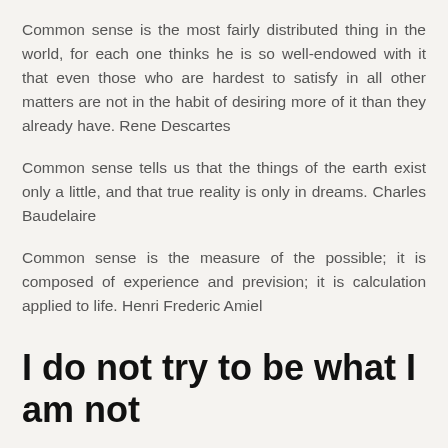Common sense is the most fairly distributed thing in the world, for each one thinks he is so well-endowed with it that even those who are hardest to satisfy in all other matters are not in the habit of desiring more of it than they already have. Rene Descartes
Common sense tells us that the things of the earth exist only a little, and that true reality is only in dreams. Charles Baudelaire
Common sense is the measure of the possible; it is composed of experience and prevision; it is calculation applied to life. Henri Frederic Amiel
I do not try to be what I am not